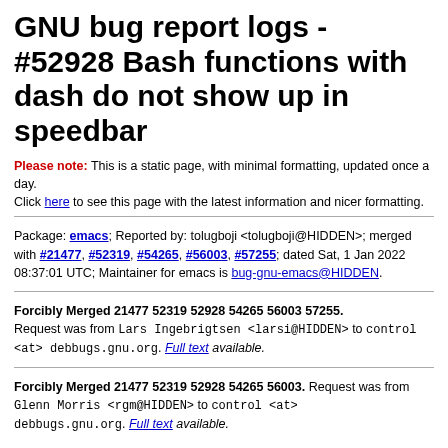GNU bug report logs - #52928 Bash functions with dash do not show up in speedbar
Please note: This is a static page, with minimal formatting, updated once a day.
Click here to see this page with the latest information and nicer formatting.
Package: emacs; Reported by: tolugboji <tolugboji@HIDDEN>; merged with #21477, #52319, #54265, #56003, #57255; dated Sat, 1 Jan 2022 08:37:01 UTC; Maintainer for emacs is bug-gnu-emacs@HIDDEN.
Forcibly Merged 21477 52319 52928 54265 56003 57255. Request was from Lars Ingebrigtsen <larsi@HIDDEN> to control <at> debbugs.gnu.org. Full text available.
Forcibly Merged 21477 52319 52928 54265 56003. Request was from Glenn Morris <rgm@HIDDEN> to control <at> debbugs.gnu.org. Full text available.